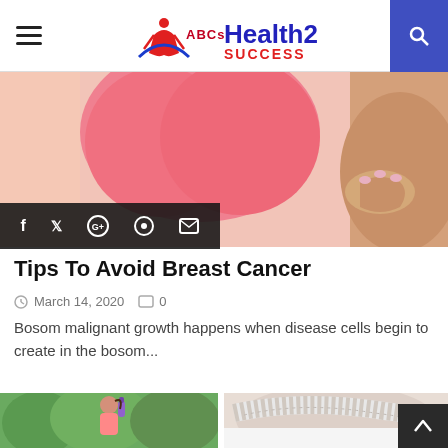ABCs Health2Success
[Figure (photo): Close-up of a woman in a pink bra holding her chest, illustrating breast cancer awareness topic]
f  ✓  G+  ⊕  ✉
Tips To Avoid Breast Cancer
March 14, 2020   □ 0
Bosom malignant growth happens when disease cells begin to create in the bosom...
[Figure (photo): Woman in pink sports bra drinking from a water bottle outdoors with green trees in background]
[Figure (photo): Woman's midsection with a measuring tape wrapped around her waist on white background]